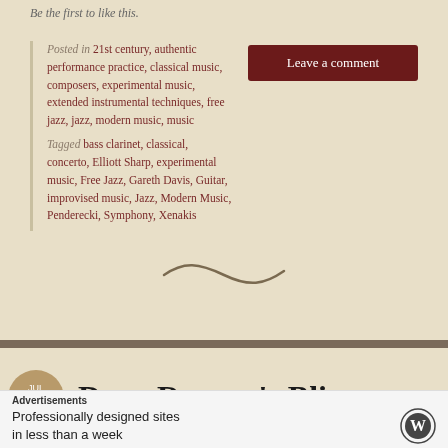Be the first to like this.
Posted in 21st century, authentic performance practice, classical music, composers, experimental music, extended instrumental techniques, free jazz, jazz, modern music, music
Tagged bass clarinet, classical, concerto, Elliott Sharp, experimental music, Free Jazz, Gareth Davis, Guitar, improvised music, Jazz, Modern Music, Penderecki, Symphony, Xenakis
[Figure (illustration): Decorative tilde/squiggle divider]
Dane Rousay's Blip
Advertisements
Professionally designed sites in less than a week